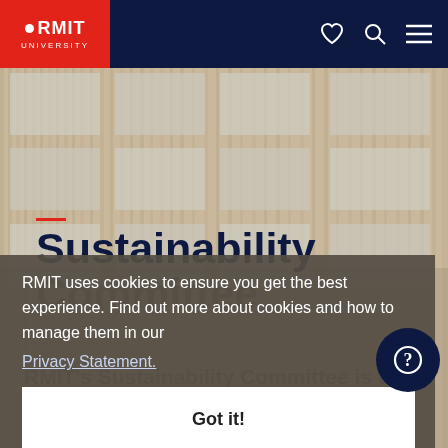RMIT UNIVERSITY
[Figure (photo): Facade of a building with rectangular tiled panels in beige and grey tones, viewed at an angle]
Sustainability Committee
RMIT uses cookies to ensure you get the best experience. Find out more about cookies and how to manage them in our Privacy Statement.
Got it!
RMIT's Sustainability Committee is the highest governing body with the